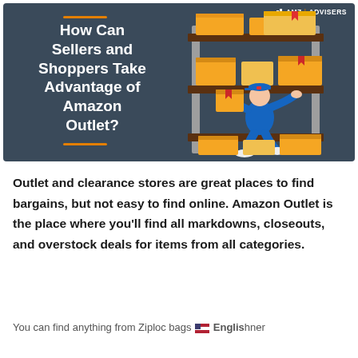[Figure (infographic): Dark teal banner with white bold title 'How Can Sellers and Shoppers Take Advantage of Amazon Outlet?' on the left, orange accent lines above and below the text, AMZ Advisers logo in top right, and a warehouse worker illustration on the right showing a person in blue uniform stacking yellow/orange boxes on brown shelving units.]
Outlet and clearance stores are great places to find bargains, but not easy to find online. Amazon Outlet is the place where you'll find all markdowns, closeouts, and overstock deals for items from all categories.
You can find anything from Ziploc bags to designer